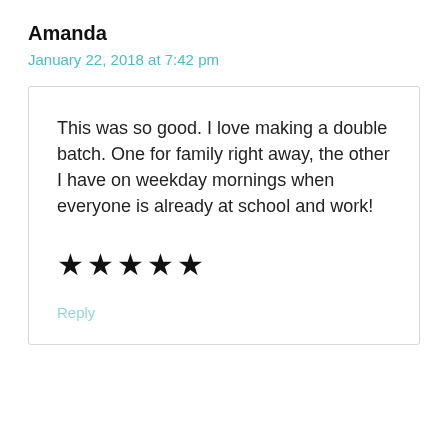Amanda
January 22, 2018 at 7:42 pm
This was so good. I love making a double batch. One for family right away, the other I have on weekday mornings when everyone is already at school and work!
★★★★★
Reply